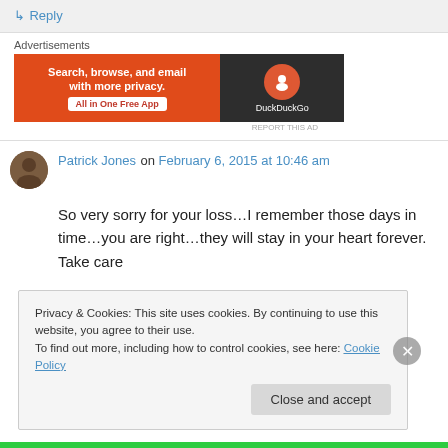↳ Reply
Advertisements
[Figure (illustration): DuckDuckGo advertisement banner: orange left panel with text 'Search, browse, and email with more privacy. All in One Free App' and dark right panel with DuckDuckGo logo]
Patrick Jones on February 6, 2015 at 10:46 am
So very sorry for your loss…I remember those days in time…you are right…they will stay in your heart forever. Take care
Privacy & Cookies: This site uses cookies. By continuing to use this website, you agree to their use.
To find out more, including how to control cookies, see here: Cookie Policy
Close and accept